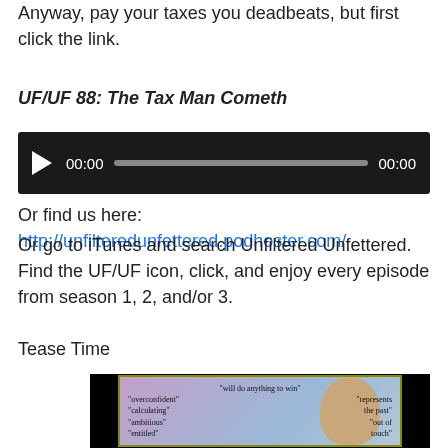Anyway, pay your taxes you deadbeats, but first click the link.
UF/UF 88: The Tax Man Cometh
[Figure (other): Audio player widget with black background, play button, time display showing 00:00, progress bar, and end time 00:00]
Or find us here: http://unfilteredunfettered.podhoster.com/
Or go to iTunes and search Unfiltered Unfettered. Find the UF/UF icon, click, and enjoy every episode from season 1, 2, and/or 3.
Tease Time
[Figure (photo): Photo of a woman (Hillary Clinton) with text overlays including: 'will do anything to win', 'overconfident', 'represents the past', 'calculating', 'ambitious', 'out of touch', 'entitled']